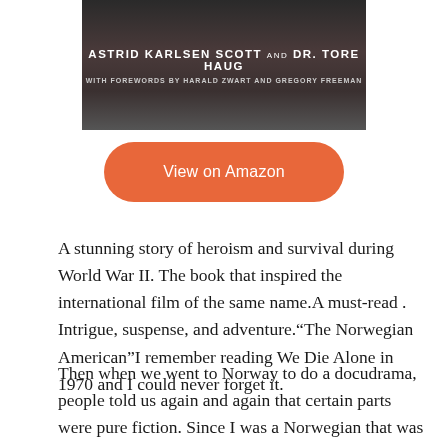[Figure (illustration): Book cover image showing authors: ASTRID KARLSEN SCOTT and DR. TORE HAUG, with forewords by HARALD ZWART and GREGORY FREEMAN. Dark background with figures.]
View on Amazon
A stunning story of heroism and survival during World War II. The book that inspired the international film of the same name.A must-read . Intrigue, suspense, and adventure."The Norwegian American"I remember reading We Die Alone in 1970 and I could never forget it.
Then when we went to Norway to do a docudrama, people told us again and again that certain parts were pure fiction. Since I was a Norwegian that was not good enough; I had to find the truth. I sincerely believe we did,